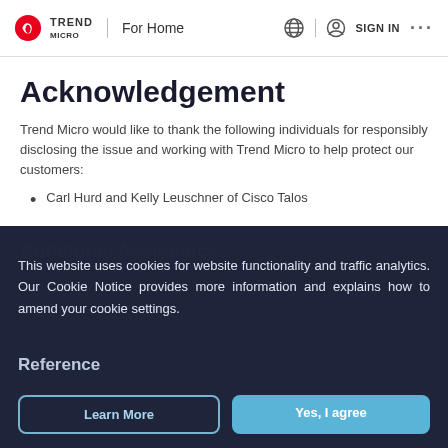TREND MICRO | For Home    [globe icon]  SIGN IN  ...
Acknowledgement
Trend Micro would like to thank the following individuals for responsibly disclosing the issue and working with Trend Micro to help protect our customers:
Carl Hurd and Kelly Leuschner of Cisco Talos
Additional Assistance
This website uses cookies for website functionality and traffic analytics. Our Cookie Notice provides more information and explains how to amend your cookie settings.
Reference
TALOS-2021-1230